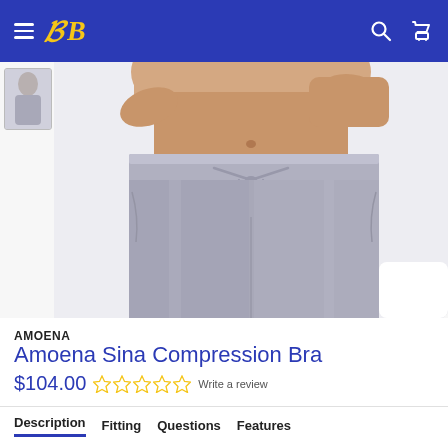Navigation bar with hamburger menu, logo, search and cart icons
[Figure (photo): E-commerce product page showing gray compression pants/leggings on a model's torso, with a small thumbnail of the same product on the left side]
AMOENA
Amoena Sina Compression Bra
$104.00 ☆☆☆☆☆ Write a review
Description  Fitting  Questions  Features